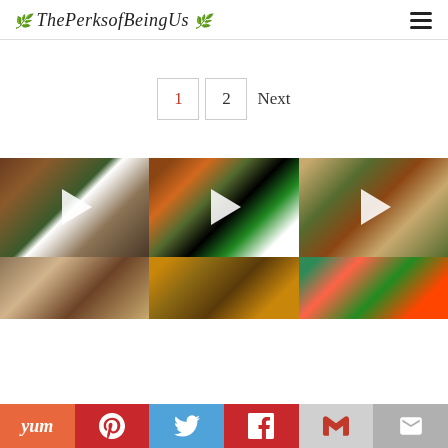ThePerksofBeingUs
1  2  Next
[Figure (photo): Pizza with basil and cheese on wooden board, with play button overlay]
[Figure (photo): Salad with vegetables, asparagus, olives, with play button overlay]
[Figure (photo): Grilled chicken with asparagus and pasta on plate, with play button overlay]
[Figure (photo): Brown food dish, partial view]
[Figure (photo): Caramelized food dish, partial view]
[Figure (photo): Colorful salad or vegetable dish, partial view]
Yum | Pinterest | Twitter | Facebook | Gmail | Mail